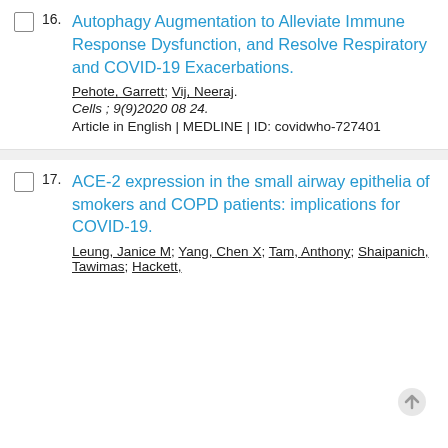16. Autophagy Augmentation to Alleviate Immune Response Dysfunction, and Resolve Respiratory and COVID-19 Exacerbations. Pehote, Garrett; Vij, Neeraj. Cells ; 9(9)2020 08 24. Article in English | MEDLINE | ID: covidwho-727401
17. ACE-2 expression in the small airway epithelia of smokers and COPD patients: implications for COVID-19. Leung, Janice M; Yang, Chen X; Tam, Anthony; Shaipanich, Tawimas; Hackett,